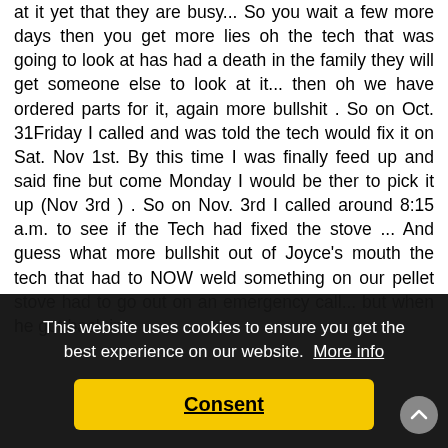at it yet that they are busy... So you wait a few more days then you get more lies oh the tech that was going to look at has had a death in the family they will get someone else to look at it... then oh we have ordered parts for it, again more bullshit . So on Oct. 31Friday I called and was told the tech would fix it on Sat. Nov 1st. By this time I was finally feed up and said fine but come Monday I would be ther to pick it up (Nov 3rd ) . So on Nov. 3rd I called around 8:15 a.m. to see if the Tech had fixed the stove ... And guess what more bullshit out of Joyce's mouth the tech that had to NOW weld something on our pellet stove had to go out on an emergency call... but when he got back in [at had] [e that I] [ould be] [ixed or] [he tech] that had been gone since early morning and had not [based on the document continued below]
This website uses cookies to ensure you get the best experience on our website. More info
Consent